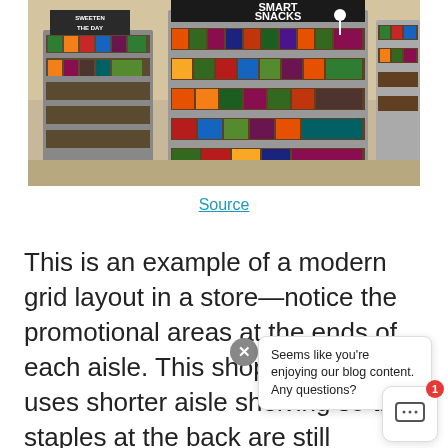[Figure (photo): A modern grocery store with grid layout showing smart snack display shelving units on wheels. Signs read 'Smart Snacks' and 'Sweeten the Day'. Shelves are stocked with colorful snack packages.]
Source
This is an example of a modern grid layout in a store—notice the promotional areas at the ends of each aisle. This shop cleverly uses shorter aisle shelving so that staples at the back are still clearly ba improves w e